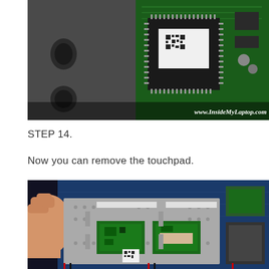[Figure (photo): Close-up photo of a laptop circuit board showing a microchip with QR code label and surrounding PCB components. Watermark: www.InsideMyLaptop.com]
STEP 14.
Now you can remove the touchpad.
[Figure (photo): Photo of a hand removing the touchpad assembly from a laptop. The metal touchpad bracket is being lifted, revealing two green circuit board modules underneath. The laptop motherboard with blue PCB is visible in the background.]